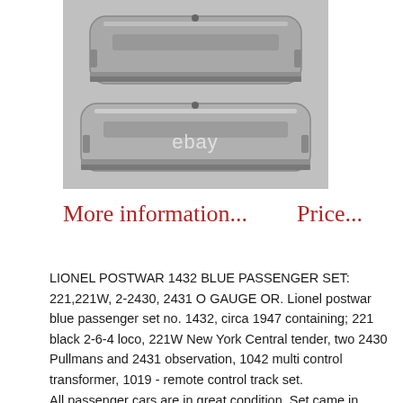[Figure (photo): Two silver/gray Lionel passenger train cars viewed from above against a gray background, with ebay watermark]
More information...    Price...
LIONEL POSTWAR 1432 BLUE PASSENGER SET: 221,221W, 2-2430, 2431 O GAUGE OR. Lionel postwar blue passenger set no. 1432, circa 1947 containing; 221 black 2-6-4 loco, 221W New York Central tender, two 2430 Pullmans and 2431 observation, 1042 multi control transformer, 1019 - remote control track set. All passenger cars are in great condition. Set came in original boxes. All boxes have wear, missing some flaps. All locomotives, tenders, whistles, operating accessories, operating cars and mechanical parts must be serviced &